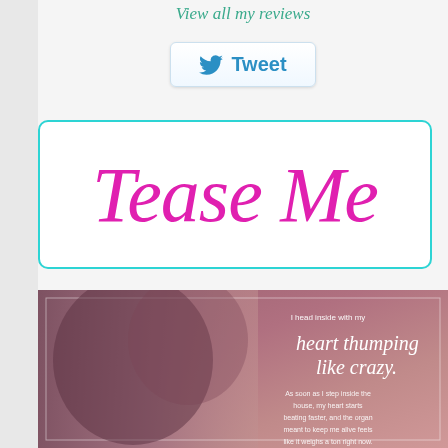View all my reviews
[Figure (screenshot): Tweet button with Twitter bird icon]
Tease Me
[Figure (photo): Romantic book quote image showing couple about to kiss with text: 'I head inside with my heart thumping like crazy. As soon as I step inside the house, my heart starts beating faster, and the organ meant to keep me alive feels like it weighs a ton right now.']